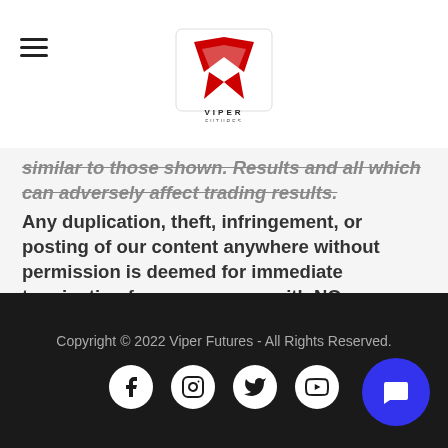Viper Futures logo and navigation
similar to those shown. Results and all which can adversely affect trading results. Any duplication, theft, infringement, or posting of our content anywhere without permission is deemed for immediate termination from our group, with NO REFUNDS. Some of the products and services in this group
Copyright © 2022 Viper Futures - All Rights Reserved.